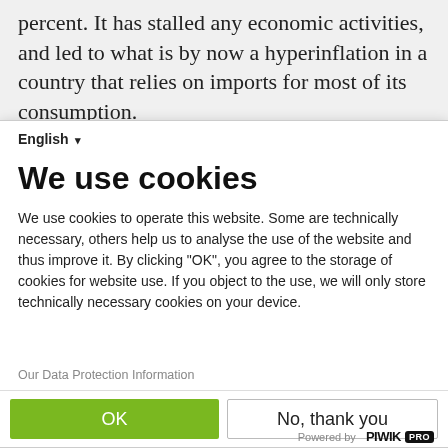percent. It has stalled any economic activities, and led to what is by now a hyperinflation in a country that relies on imports for most of its consumption.
The currency crisis comes on top of a banking crisis that has practically bankrupted the banking sector,
English ▾
We use cookies
We use cookies to operate this website. Some are technically necessary, others help us to analyse the use of the website and thus improve it. By clicking "OK", you agree to the storage of cookies for website use. If you object to the use, we will only store technically necessary cookies on your device.
Our Data Protection Information
OK
No, thank you
Powered by PIWIK PRO